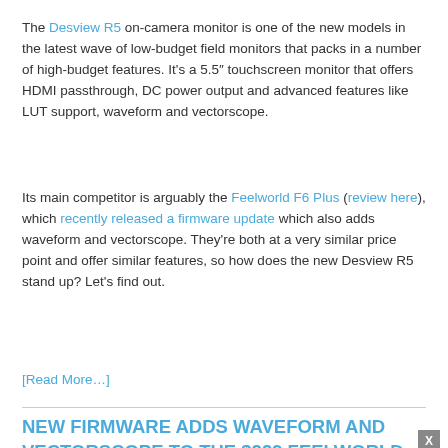The Desview R5 on-camera monitor is one of the new models in the latest wave of low-budget field monitors that packs in a number of high-budget features. It's a 5.5″ touchscreen monitor that offers HDMI passthrough, DC power output and advanced features like LUT support, waveform and vectorscope.
Its main competitor is arguably the Feelworld F6 Plus (review here), which recently released a firmware update which also adds waveform and vectorscope. They're both at a very similar price point and offer similar features, so how does the new Desview R5 stand up? Let's find out.
[Read More…]
NEW FIRMWARE ADDS WAVEFORM AND VECTORSCOPE TO THE $229 FEELWORLD F6 PLUS ON-CAMERA MONITOR